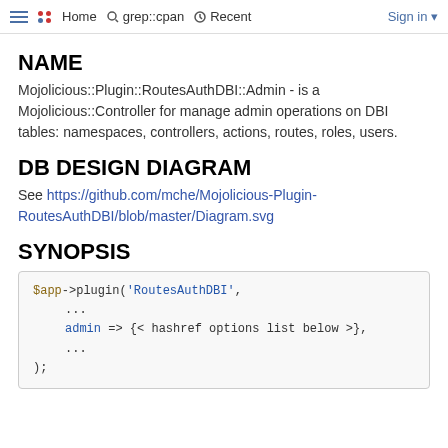≡ •• Home  grep::cpan  Recent  Sign in
NAME
Mojolicious::Plugin::RoutesAuthDBI::Admin - is a Mojolicious::Controller for manage admin operations on DBI tables: namespaces, controllers, actions, routes, roles, users.
DB DESIGN DIAGRAM
See https://github.com/mche/Mojolicious-Plugin-RoutesAuthDBI/blob/master/Diagram.svg
SYNOPSIS
$app->plugin('RoutesAuthDBI',
    ...
    admin => {< hashref options list below >},
    ...
);